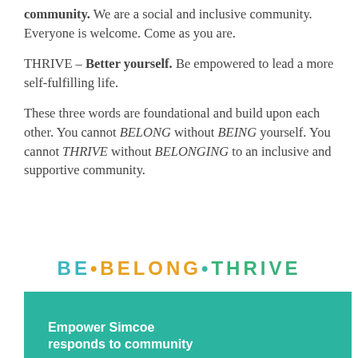community. We are a social and inclusive community. Everyone is welcome. Come as you are.
THRIVE – Better yourself. Be empowered to lead a more self-fulfilling life.
These three words are foundational and build upon each other. You cannot BELONG without BEING yourself. You cannot THRIVE without BELONGING to an inclusive and supportive community.
BE • BELONG • THRIVE
Empower Simcoe responds to community